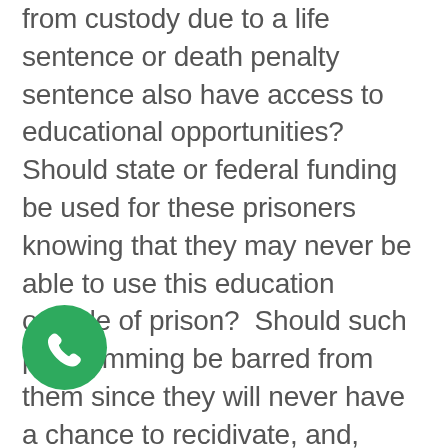from custody due to a life sentence or death penalty sentence also have access to educational opportunities?  Should state or federal funding be used for these prisoners knowing that they may never be able to use this education outside of prison?  Should such programming be barred from them since they will never have a chance to recidivate, and, thus, this vastly important social benefit of prison education becomes a non-issue? They should, and for several reasons. Reductions in recidivism dominates the public's dialogue on prison education.  It is the correctional education's primary lobbying and b[phone icon]nversion point.  But outside of reductions in recidivism, prison education fulfills
[Figure (other): Green circular phone/call button icon overlaid on text]